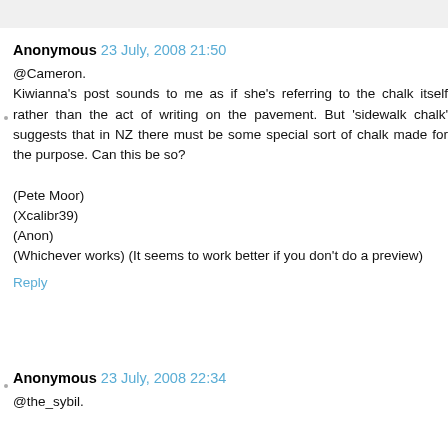Anonymous 23 July, 2008 21:50
@Cameron.
Kiwianna's post sounds to me as if she's referring to the chalk itself rather than the act of writing on the pavement. But 'sidewalk chalk' suggests that in NZ there must be some special sort of chalk made for the purpose. Can this be so?

(Pete Moor)
(Xcalibr39)
(Anon)
(Whichever works) (It seems to work better if you don't do a preview)
Reply
Anonymous 23 July, 2008 22:34
@the_sybil.